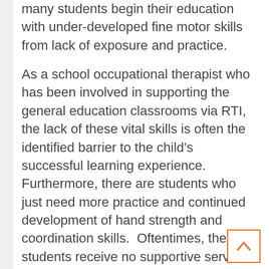many students begin their education with under-developed fine motor skills from lack of exposure and practice.
As a school occupational therapist who has been involved in supporting the general education classrooms via RTI, the lack of these vital skills is often the identified barrier to the child’s successful learning experience. Furthermore, there are students who just need more practice and continued development of hand strength and coordination skills.  Oftentimes, these students receive no supportive services at school.
I feel strongly that the answer, at least in part, is by equipping kindergarten classrooms with fine motor boxes that can be used on a daily basis in a
[Figure (other): Orange-bordered scroll-to-top button with upward arrow chevron]